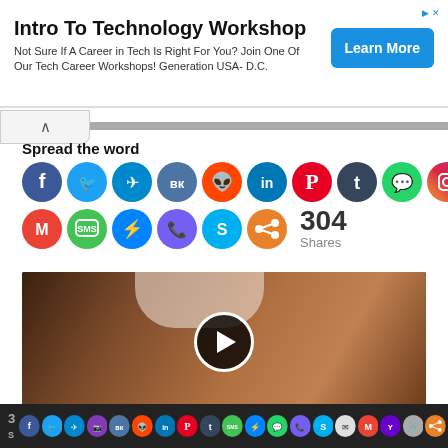[Figure (infographic): Advertisement banner: Intro To Technology Workshop with Learn More button]
Spread the word
[Figure (infographic): Social sharing icons: Facebook, Twitter, Telegram, VK, Reddit, LinkedIn, Pinterest, Tumblr, WhatsApp, Instagram, Gmail, SMS, Messenger, Viber, Skype, Share. 304 Shares total.]
[Figure (photo): Video thumbnail showing a close-up of a person's midsection with a play button overlay]
[Figure (infographic): Bottom share bar with social media icons]